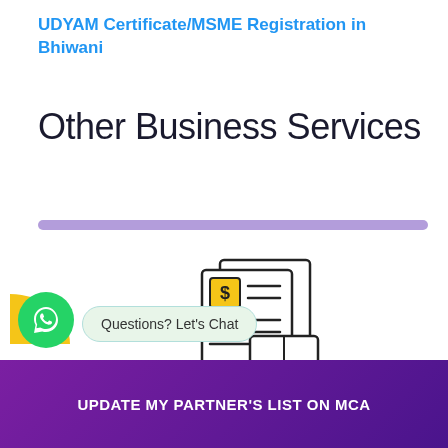UDYAM Certificate/MSME Registration in Bhiwani
Other Business Services
[Figure (illustration): Illustration of financial documents (invoice with dollar sign) and a calculator, representing business/financial services.]
Questions? Let's Chat
UPDATE MY PARTNER'S LIST ON MCA